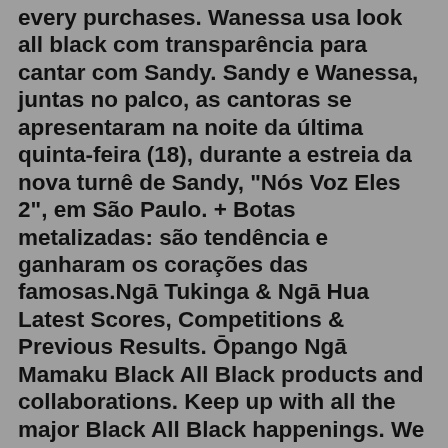every purchases. Wanessa usa look all black com transparência para cantar com Sandy. Sandy e Wanessa, juntas no palco, as cantoras se apresentaram na noite da última quinta-feira (18), durante a estreia da nova turnê de Sandy, "Nós Voz Eles 2", em São Paulo. + Botas metalizadas: são tendência e ganharam os corações das famosas.Ngā Tukinga & Ngā Hua Latest Scores, Competitions & Previous Results. Ōpango Ngā Mamaku Black All Black products and collaborations. Keep up with all the major Black All Black happenings. We won't bug you unless it's important.13 hours ago · Check out all the highlights from Auckland Rugby's match with Bay of Plenty Rugby from Eden Park! 2020 HSBC New Zealand Sevens going on sale today. The 2020 HSBC New Zealand Sevens at FMG Stadium Waikato is Auckland Anniversary weekend (25-26 January) next year with new features on and off the field including an exciting new tournament format. Two-day tickets from $20 for kids, $107 for adults.